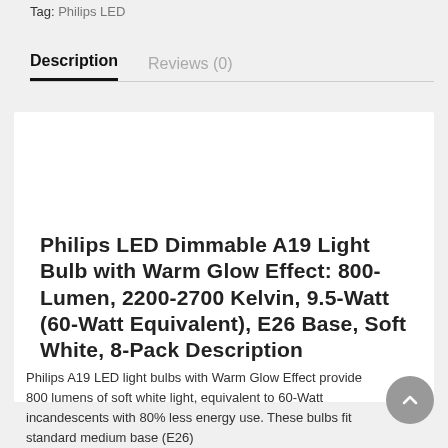Bulbs
Tag: Philips LED
Description
Reviews (0)
Philips LED Dimmable A19 Light Bulb with Warm Glow Effect: 800-Lumen, 2200-2700 Kelvin, 9.5-Watt (60-Watt Equivalent), E26 Base, Soft White, 8-Pack Description
Philips A19 LED light bulbs with Warm Glow Effect provide 800 lumens of soft white light, equivalent to 60-Watt incandescents with 80% less energy use. These bulbs fit standard medium base (E26)